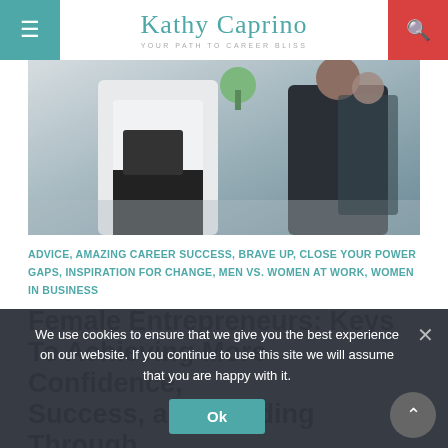≡  Kathy Caprino YOUR PATH TO CAREER BLISS  🔍
[Figure (photo): Hero photo showing business people in an office setting, one person in a white shirt holding a laptop/folder, another person in dark clothing in the background]
ADVICE, AMAZING CAREER SUCCESS, BRAVE UP, CLOSE YOUR POWER GAPS, INSPIRATION FOR CHANGE, MEN VS. WOMEN AT WORK, WOMEN IN BUSINESS
Female Entrepreneurs: Keys To Achieving More Confidence, Success, and Funding Through
We use cookies to ensure that we give you the best experience on our website. If you continue to use this site we will assume that you are happy with it.
Ok